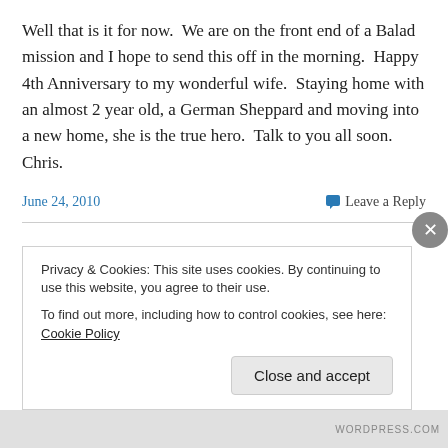Well that is it for now.  We are on the front end of a Balad mission and I hope to send this off in the morning.  Happy 4th Anniversary to my wonderful wife.  Staying home with an almost 2 year old, a German Sheppard and moving into a new home, she is the true hero.  Talk to you all soon.  Chris.
June 24, 2010    Leave a Reply
Chris – Weeks 8 & 9
Privacy & Cookies: This site uses cookies. By continuing to use this website, you agree to their use.
To find out more, including how to control cookies, see here: Cookie Policy
Close and accept